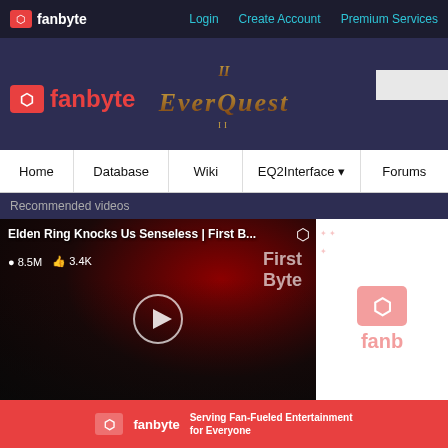fanbyte | Login | Create Account | Premium Services
[Figure (logo): Fanbyte logo with icon in header band]
[Figure (logo): EverQuest II logo in header band center]
Home | Database | Wiki | EQ2Interface | Forums
Recommended videos
[Figure (screenshot): Video thumbnail: Elden Ring Knocks Us Senseless | First B... with 8.5M views and 3.4K likes, play button overlay, First Byte text overlay]
[Figure (logo): Fanbyte logo on white side panel]
[Figure (logo): Fanbyte bottom banner: Serving Fan-Fueled Entertainment for Everyone]